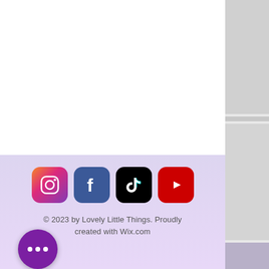[Figure (other): Social media footer section with lavender/purple gradient background containing Instagram, Facebook, TikTok, and YouTube icons, copyright text, and a purple more button with ellipsis]
© 2023 by Lovely Little Things. Proudly created with Wix.com